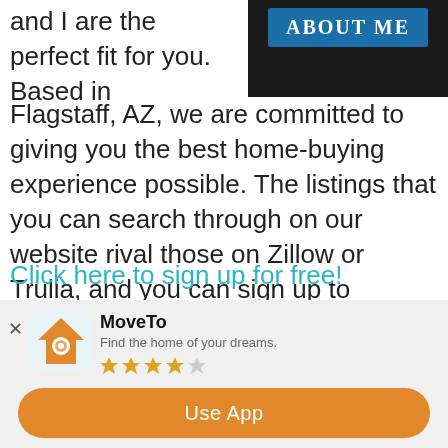[Figure (other): Dark background image with 'ABOUT ME' button overlay in blue]
and I are the perfect fit for you. Based in Flagstaff, AZ, we are committed to giving you the best home-buying experience possible. The listings that you can search through on our website rival those on Zillow or Trulia, and you can sign up to receive notifications about new property, price change alerts, and more.
Click here to sign up for free!
If you are willing, we would love to work with you
[Figure (other): Mobile app install banner for MoveTo app with orange icon, rating stars, and 'Use App' button]